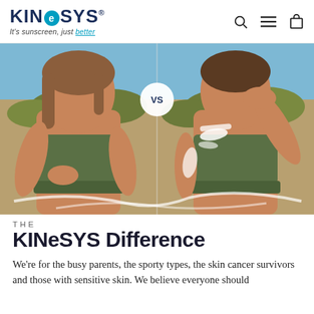KINeSYS — It's sunscreen, just better
[Figure (photo): Two children at a beach side by side with a VS badge in the middle. Left child in green bikini top with arms crossed, no sunscreen. Right child in same green bikini top with white sunscreen lotion on shoulder and arm, hand raised to face. Beach grass and blue sky in background.]
THE
KINeSYS Difference
We're for the busy parents, the sporty types, the skin cancer survivors and those with sensitive skin. We believe everyone should